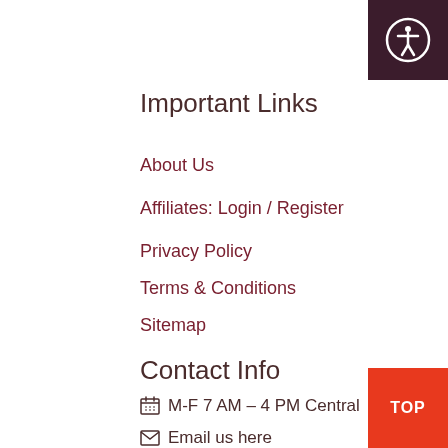Important Links
About Us
Affiliates: Login / Register
Privacy Policy
Terms & Conditions
Sitemap
Contact Info
M-F 7 AM – 4 PM Central
Email us here